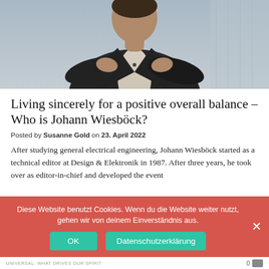[Figure (photo): Person in dark suit jacket with arms crossed, partial torso/shoulders view, light background]
Living sincerely for a positive overall balance – Who is Johann Wiesböck?
Posted by Susanne Gold on 23. April 2022
After studying general electrical engineering, Johann Wiesböck started as a technical editor at Design & Elektronik in 1987. After three years, he took over as editor-in-chief and developed the event
Diese Website benutzt Cookies. Wenn du die Website weiter nutzt, gehen wir von deinem Einverständnis aus.
UNIVERSAL. WHAT DRIVES OUR SPIRIT